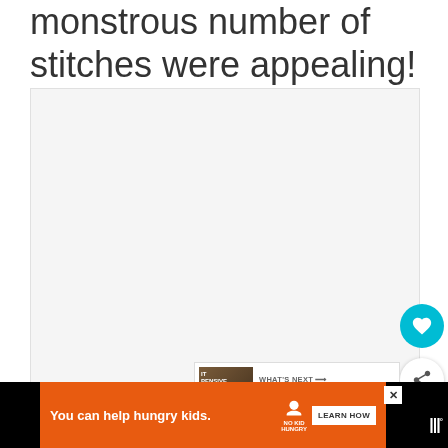monstrous number of stitches were appealing!
[Figure (photo): Large light gray placeholder image area for an embroidery-related photograph]
[Figure (other): WHAT'S NEXT panel showing '5 Best Cheap Embroidery...' with a thumbnail of embroidery thread/supplies]
[Figure (other): Advertisement bar: 'You can help hungry kids.' with No Kid Hungry logo and LEARN HOW button on orange background]